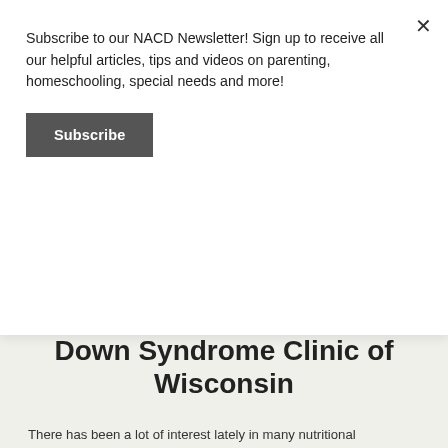Subscribe to our NACD Newsletter! Sign up to receive all our helpful articles, tips and videos on parenting, homeschooling, special needs and more!
Subscribe
Down Syndrome Clinic of Wisconsin
There has been a lot of interest lately in many nutritional therapies reportedly of benefit to people with Down syndrome. Some of these therapies are relatively new and others have been around for awhile. Some of the more widely talked about supplements are Nutrivene D, MSB, and HAP Caps. Some of these therapies have been combined with Piracetam or thyroid medications. Historically, the interest in nutritional supplementation has come and gone and now come again.
The proponents claim the supplements will improve